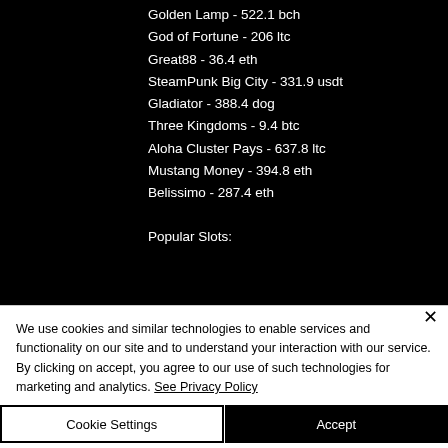Golden Lamp - 522.1 bch
God of Fortune - 206 ltc
Great88 - 36.4 eth
SteamPunk Big City - 331.9 usdt
Gladiator - 388.4 dog
Three Kingdoms - 9.4 btc
Aloha Cluster Pays - 637.8 ltc
Mustang Money - 394.8 eth
Belissimo - 287.4 eth
Popular Slots:
We use cookies and similar technologies to enable services and functionality on our site and to understand your interaction with our service. By clicking on accept, you agree to our use of such technologies for marketing and analytics. See Privacy Policy